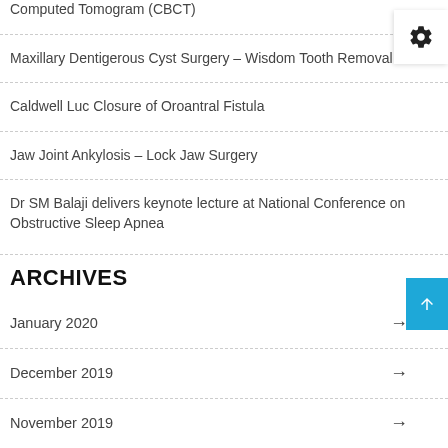Computed Tomogram (CBCT)
Maxillary Dentigerous Cyst Surgery – Wisdom Tooth Removal
Caldwell Luc Closure of Oroantral Fistula
Jaw Joint Ankylosis – Lock Jaw Surgery
Dr SM Balaji delivers keynote lecture at National Conference on Obstructive Sleep Apnea
ARCHIVES
January 2020 →
December 2019 →
November 2019 →
October 2019 →
September 2019 →